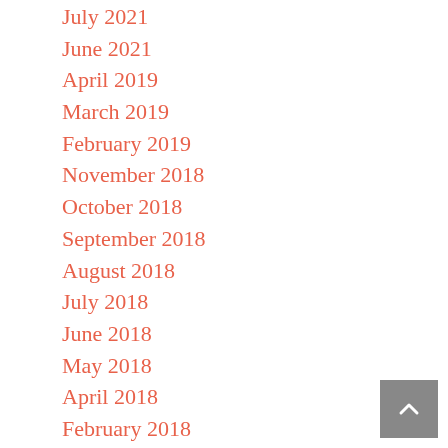July 2021
June 2021
April 2019
March 2019
February 2019
November 2018
October 2018
September 2018
August 2018
July 2018
June 2018
May 2018
April 2018
February 2018
January 2018